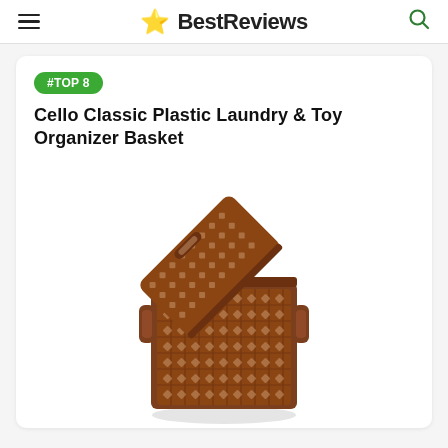BestReviews
#TOP 8
Cello Classic Plastic Laundry & Toy Organizer Basket
[Figure (photo): Brown plastic wicker-patterned laundry basket with open lid, showing interior, with side handles]